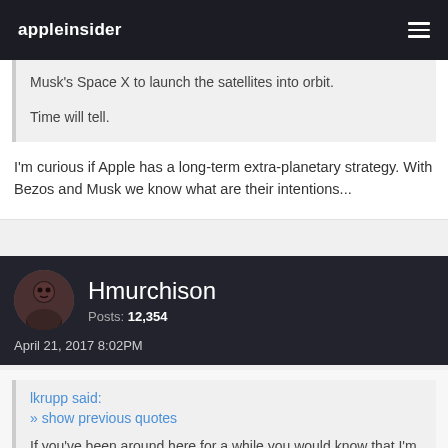appleinsider
Musk's Space X to launch the satellites into orbit.
Time will tell.
I'm curious if Apple has a long-term extra-planetary strategy. With Bezos and Musk we know what are their intentions...
Hmurchison
Posts: 12,354
April 21, 2017 8:02PM
lkrupp said:
» show previous quotes
If you've been around here for a while you would know that I'm usually defending Apple against trolls and naysayers. But it's becoming clear that Apple has